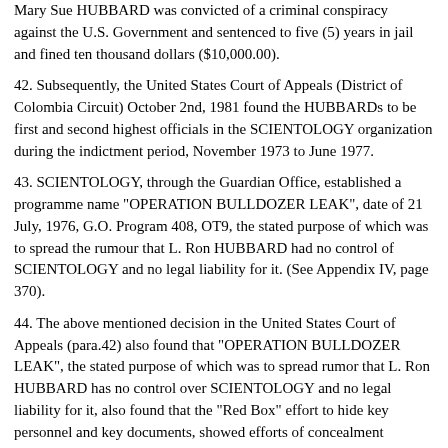Mary Sue HUBBARD was convicted of a criminal conspiracy against the U.S. Government and sentenced to five (5) years in jail and fined ten thousand dollars ($10,000.00).
42. Subsequently, the United States Court of Appeals (District of Colombia Circuit) October 2nd, 1981 found the HUBBARDs to be first and second highest officials in the SCIENTOLOGY organization during the indictment period, November 1973 to June 1977.
43. SCIENTOLOGY, through the Guardian Office, established a programme name "OPERATION BULLDOZER LEAK", date of 21 July, 1976, G.O. Program 408, OT9, the stated purpose of which was to spread the rumour that L. Ron HUBBARD had no control of SCIENTOLOGY and no legal liability for it. (See Appendix IV, page 370).
44. The above mentioned decision in the United States Court of Appeals (para.42) also found that "OPERATION BULLDOZER LEAK", the stated purpose of which was to spread rumor that L. Ron HUBBARD has no control over SCIENTOLOGY and no legal liability for it, also found that the "Red Box" effort to hide key personnel and key documents, showed efforts of concealment attributed to L. Ron HUBBARD.
45. a) The source for the paragraphs 46 to 66 is information received directly from Provincial Constable Joao Cunha, an Ontario Provincial Police Constable, a person in my command whom I have known personally for about two (2) years as reliable and trustworthy. The said Constable was employed as an undercover police officer in the Toronto